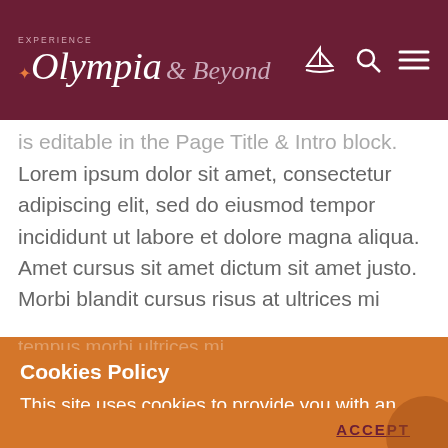Experience Olympia & Beyond
is editable in the Page Title & Intro block. Lorem ipsum dolor sit amet, consectetur adipiscing elit, sed do eiusmod tempor incididunt ut labore et dolore magna aliqua. Amet cursus sit amet dictum sit amet justo. Morbi blandit cursus risus at ultrices mi
tempus morbi ultrices mi
Cookies Policy
This site uses cookies to provide you with an optimized experience. Learn More
ACCEPT